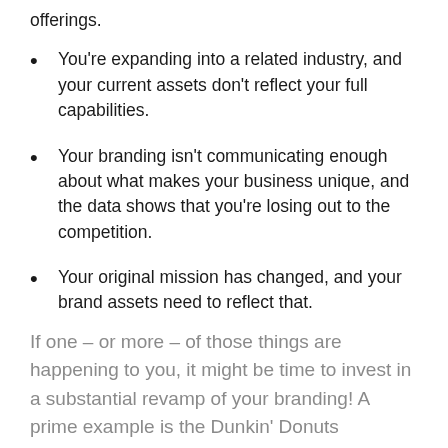offerings.
You're expanding into a related industry, and your current assets don't reflect your full capabilities.
Your branding isn't communicating enough about what makes your business unique, and the data shows that you're losing out to the competition.
Your original mission has changed, and your brand assets need to reflect that.
If one – or more – of those things are happening to you, it might be time to invest in a substantial revamp of your branding! A prime example is the Dunkin' Donuts